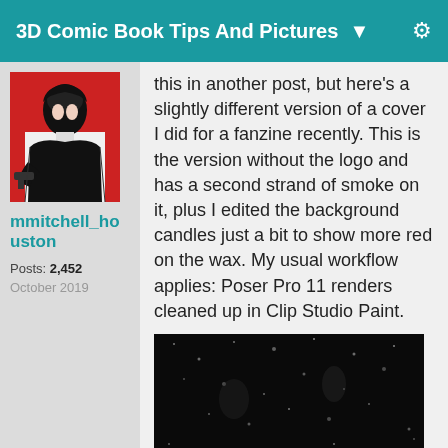3D Comic Book Tips And Pictures ▼
[Figure (illustration): Comic book style avatar image of a person in red and black, holding a gun]
mmitchell_houston
Posts: 2,452
October 2019
this in another post, but here's a slightly different version of a cover I did for a fanzine recently. This is the version without the logo and has a second strand of smoke on it, plus I edited the background candles just a bit to show more red on the wax. My usual workflow applies: Poser Pro 11 renders cleaned up in Clip Studio Paint.
[Figure (photo): Dark moody photo with candles and smoke, mostly black with some light sparkles]